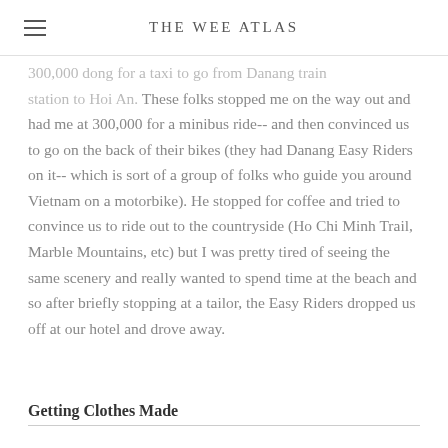THE WEE ATLAS
300,000 dong for a taxi to go from Danang train station to Hoi An. These folks stopped me on the way out and had me at 300,000 for a minibus ride-- and then convinced us to go on the back of their bikes (they had Danang Easy Riders on it-- which is sort of a group of folks who guide you around Vietnam on a motorbike). He stopped for coffee and tried to convince us to ride out to the countryside (Ho Chi Minh Trail, Marble Mountains, etc) but I was pretty tired of seeing the same scenery and really wanted to spend time at the beach and so after briefly stopping at a tailor, the Easy Riders dropped us off at our hotel and drove away.
Getting Clothes Made